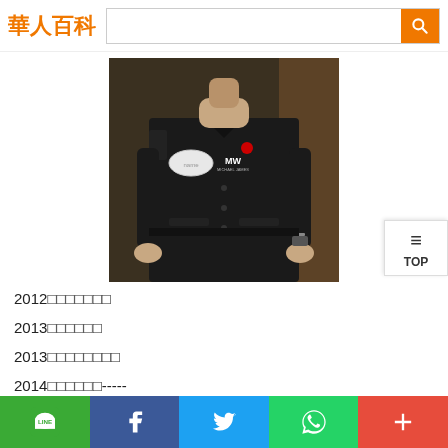華人百科
[Figure (photo): A man wearing a dark/black work uniform shirt with MW logo patch and name badge, also wearing a watch, photographed from neck to waist area in an indoor setting with decorative background.]
2012年加入競賽隊伍
2013年贏得地區冠軍
2013年加入全國聯賽隊伍
2014年擔任隊長-----